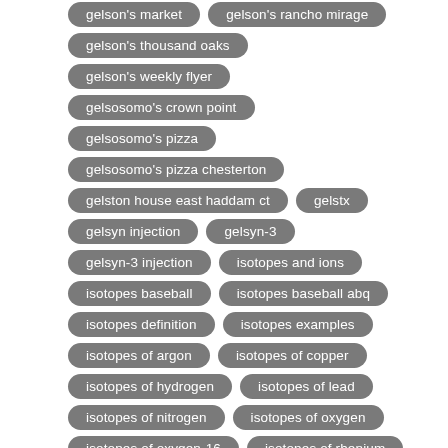gelson's market
gelson's rancho mirage
gelson's thousand oaks
gelson's weekly flyer
gelsosomo's crown point
gelsosomo's pizza
gelsosomo's pizza chesterton
gelston house east haddam ct
gelstx
gelsyn injection
gelsyn-3
gelsyn-3 injection
isotopes and ions
isotopes baseball
isotopes baseball abq
isotopes definition
isotopes examples
isotopes of argon
isotopes of copper
isotopes of hydrogen
isotopes of lead
isotopes of nitrogen
isotopes of oxygen
isotopes of oxygen-16
isotopes of rhenium